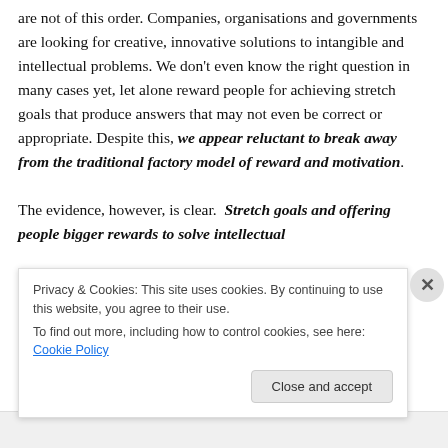are not of this order. Companies, organisations and governments are looking for creative, innovative solutions to intangible and intellectual problems. We don't even know the right question in many cases yet, let alone reward people for achieving stretch goals that produce answers that may not even be correct or appropriate. Despite this, we appear reluctant to break away from the traditional factory model of reward and motivation.
The evidence, however, is clear. Stretch goals and offering people bigger rewards to solve intellectual
Privacy & Cookies: This site uses cookies. By continuing to use this website, you agree to their use.
To find out more, including how to control cookies, see here: Cookie Policy